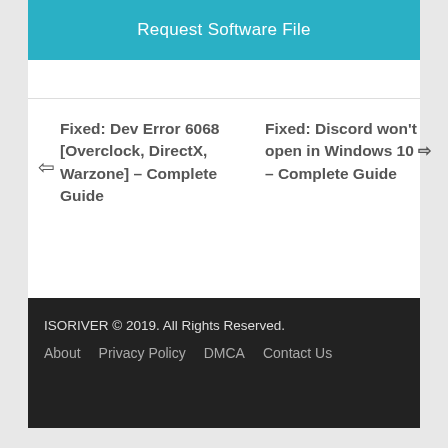Request Software File
Fixed: Dev Error 6068 [Overclock, DirectX, Warzone] – Complete Guide
Fixed: Discord won't open in Windows 10 – Complete Guide
ISORIVER © 2019. All Rights Reserved.
About  Privacy Policy  DMCA  Contact Us